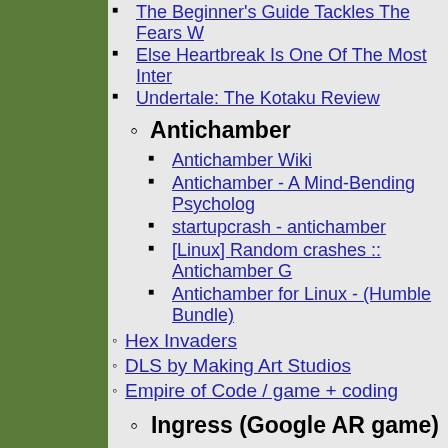The Beginner's Guide Tackles The Fears W...
Else Heartbreak Is One Of The Most Inter...
Undertale: The Kotaku Review
Antichamber
Antichamber Wiki
Antichamber - A Mind-Bending Psycholog...
startupcrash - antichamber
[Linux] Random crashes :: Antichamber G...
Antichamber for Linux - (Humble Bundle)
Hex Invaders
DLS by Making Art Studios
Empire of Code / game + coding
Ingress (Google AR game)
Ingress Field Guide
Ingress Intel World Map
Linux Games
PlayDeb Beta 2
The Linux Game Tome